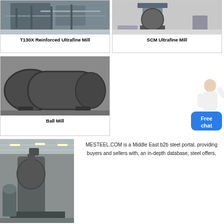[Figure (photo): T130X Reinforced Ultrafine Mill machine in a factory building]
T130X Reinforced Ultrafine Mill
[Figure (photo): SCM Ultrafine Mill with steel balls on factory floor]
SCM Ultrafine Mill
[Figure (photo): Ball Mill large cylindrical grinding machine in industrial warehouse]
Ball Mill
[Figure (photo): Free chat widget with female avatar and blue chat button]
[Figure (photo): Large industrial grinding mill equipment inside factory with high ceiling]
MESTEEL.COM is a Middle East b2b steel portal, providing buyers and sellers with, an in-depth database, steel offers,